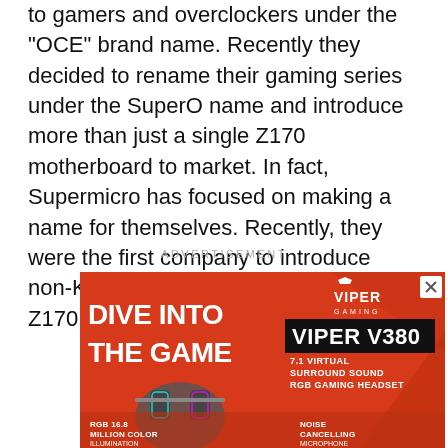to gamers and overclockers under the "OCE" brand name. Recently they decided to rename their gaming series under the SuperO name and introduce more than just a single Z170 motherboard to market. In fact, Supermicro has focused on making a name for themselves. Recently, they were the first company to introduce non-K overclocking on the H170 and Z170 chipset.
ADVERTISEMENT
[Figure (photo): Advertisement banner for Viper Gaming Viper V380 RGB Gaming Headset. Red background with bold white text 'DIVE INTO THE GAME'. Viper Gaming logo top right. Product name 'VIPER V380' in black box. Features listed: '7.1 VIRTUAL SURROUND SOUND RGB GAMING HEADSET', 'RGB 16.8 MILLION COLOR ILLUMINATION', 'NOISE CANCELLING MICROPHONE'. Image shows the headset with RGB lighting.]